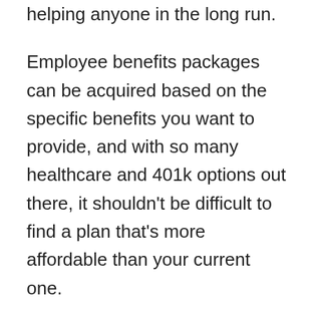helping anyone in the long run.
Employee benefits packages can be acquired based on the specific benefits you want to provide, and with so many healthcare and 401k options out there, it shouldn't be difficult to find a plan that's more affordable than your current one.
While you shouldn't strip your employees of their current benefits, making slight changes can significantly lower the cost of maintaining these plans; especially if you manage several hundred employees.